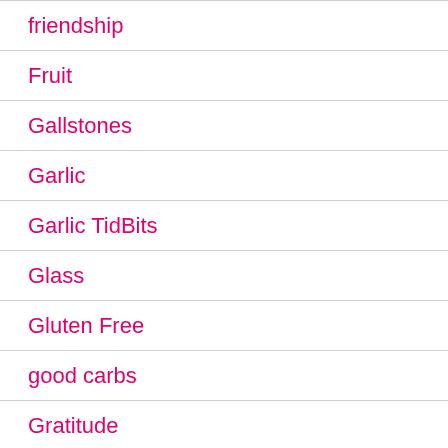friendship
Fruit
Gallstones
Garlic
Garlic TidBits
Glass
Gluten Free
good carbs
Gratitude